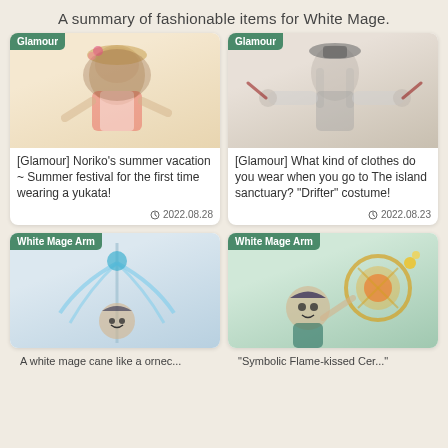A summary of fashionable items for White Mage.
[Figure (photo): Glamour screenshot showing a character in a white yukata with a straw hat decorated with flowers, arms outstretched, summer festival attire. Tagged 'Glamour'.]
[Glamour] Noriko's summer vacation ~ Summer festival for the first time wearing a yukata!
2022.08.28
[Figure (photo): Glamour screenshot showing a character in a drifter costume with a wide-brimmed hat, arms outstretched holding feather-tipped rods. Tagged 'Glamour'.]
[Glamour] What kind of clothes do you wear when you go to The island sanctuary? "Drifter" costume!
2022.08.23
[Figure (photo): White Mage Arm screenshot showing a character with a large ornate staff featuring blue feathers/wings and a teal gemstone. Tagged 'White Mage Arm'.]
[Figure (photo): White Mage Arm screenshot showing a character holding a large circular censer-style weapon with orange center and golden sparks. Tagged 'White Mage Arm'.]
A white mage cane like a ornec...
"Symbolic Flame-kissed Cer..."